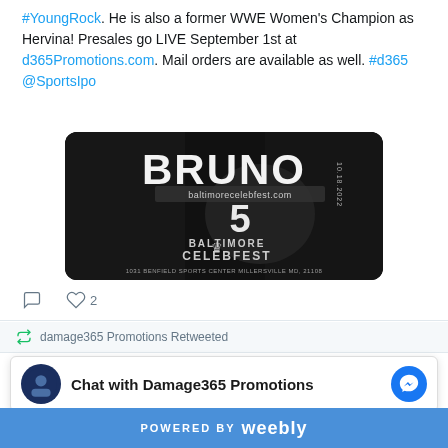#YoungRock. He is also a former WWE Women's Champion as Hervina! Presales go LIVE September 1st at d365Promotions.com. Mail orders are available as well. #d365 @SportsIpo
[Figure (photo): Event promotional image for Baltimore CelebFest 5, black background with large BRUNO text, crown graphic, date 10.18.2022, address 1031 Benfield Sports Center Millersville MD, 21108, baltimorecelebfest.com]
♡  ♡ 2
damage365 Promotions Retweeted
Chat with Damage365 Promotions
POWERED BY weebly